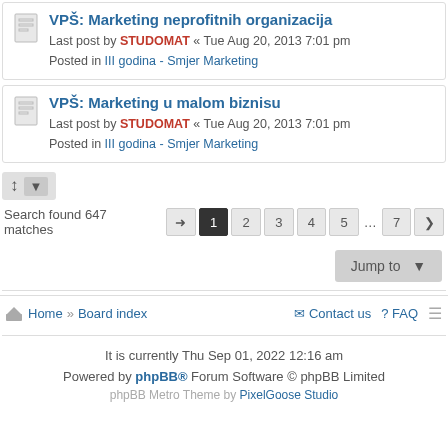VPŠ: Marketing neprofitnih organizacija
Last post by STUDOMAT « Tue Aug 20, 2013 7:01 pm
Posted in III godina - Smjer Marketing
VPŠ: Marketing u malom biznisu
Last post by STUDOMAT « Tue Aug 20, 2013 7:01 pm
Posted in III godina - Smjer Marketing
Search found 647 matches  1 2 3 4 5 ... 7
Jump to
Home » Board index   Contact us  FAQ
It is currently Thu Sep 01, 2022 12:16 am
Powered by phpBB® Forum Software © phpBB Limited
phpBB Metro Theme by PixelGoose Studio